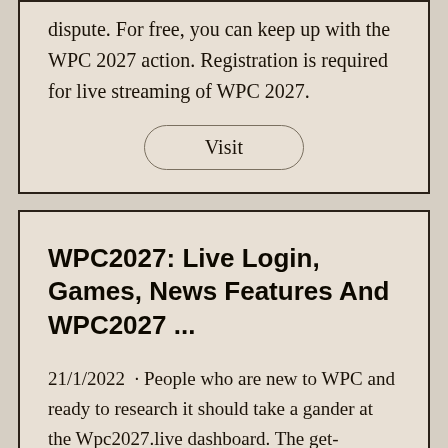dispute. For free, you can keep up with the WPC 2027 action. Registration is required for live streaming of WPC 2027.
Visit
WPC2027: Live Login, Games, News Features And WPC2027 ...
21/1/2022  · People who are new to WPC and ready to research it should take a gander at the Wpc2027.live dashboard. The get-together would be streamed live, and people expecting to have a gotten together environment will see it remarkably steady.